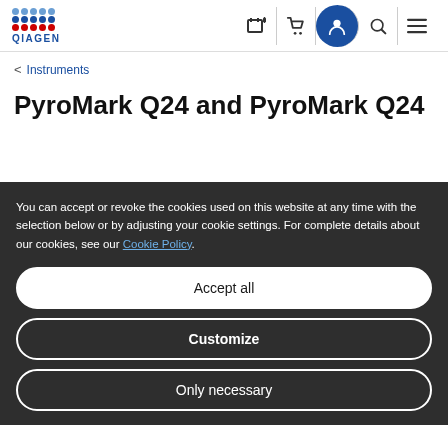QIAGEN navigation header with logo and icons
< Instruments
PyroMark Q24 and PyroMark Q24
You can accept or revoke the cookies used on this website at any time with the selection below or by adjusting your cookie settings. For complete details about our cookies, see our Cookie Policy.
Accept all
Customize
Only necessary